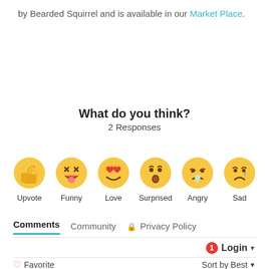by Bearded Squirrel and is available in our Market Place.
What do you think?
2 Responses
[Figure (illustration): Six emoji reaction icons in a row: thumbs up (Upvote), laughing face with tongue (Funny), heart eyes smiley (Love), surprised face (Surprised), crying angry face (Angry), sad face with tear (Sad)]
Comments  Community  Privacy Policy
1  Login
Favorite  Sort by Best